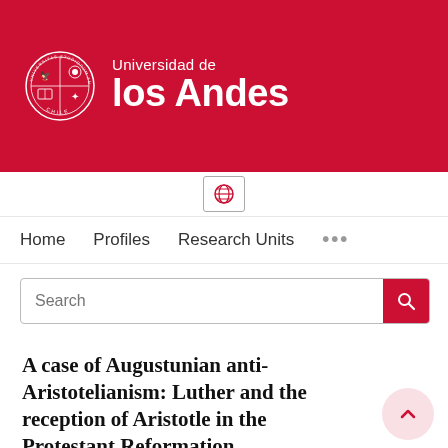[Figure (logo): Universidad de los Andes logo with university seal and text on red background]
Home   Profiles   Research Units   ...
Search
A case of Augustunian anti-Aristotelianism: Luther and the reception of Aristotle in the Protestant Reformation
Manfred Svensson